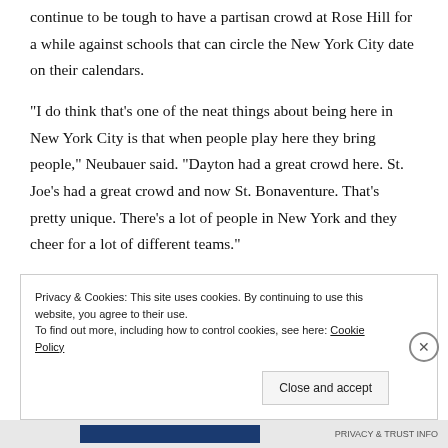continue to be tough to have a partisan crowd at Rose Hill for a while against schools that can circle the New York City date on their calendars.
“I do think that’s one of the neat things about being here in New York City is that when people play here they bring people,” Neubauer said. “Dayton had a great crowd here. St. Joe’s had a great crowd and now St. Bonaventure. That’s pretty unique. There’s a lot of people in New York and they cheer for a lot of different teams.”
Privacy & Cookies: This site uses cookies. By continuing to use this website, you agree to their use.
To find out more, including how to control cookies, see here: Cookie Policy
Close and accept